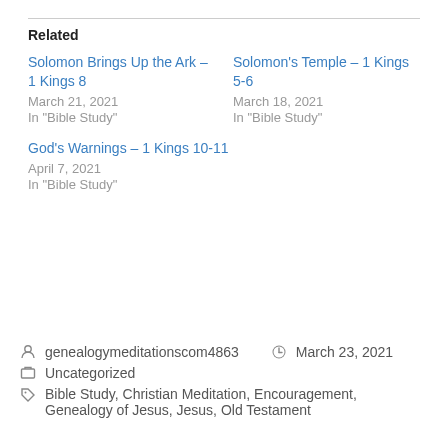Related
Solomon Brings Up the Ark – 1 Kings 8
March 21, 2021
In "Bible Study"
Solomon's Temple – 1 Kings 5-6
March 18, 2021
In "Bible Study"
God's Warnings – 1 Kings 10-11
April 7, 2021
In "Bible Study"
genealogymeditationscom4863   March 23, 2021
Uncategorized
Bible Study, Christian Meditation, Encouragement, Genealogy of Jesus, Jesus, Old Testament